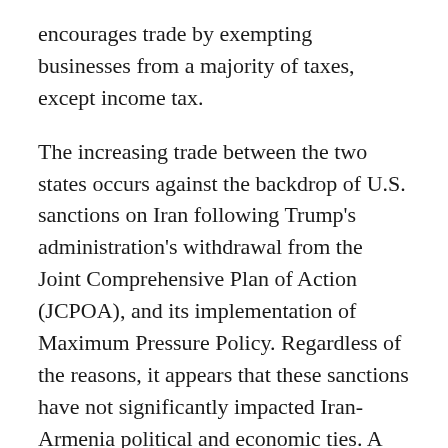encourages trade by exempting businesses from a majority of taxes, except income tax.
The increasing trade between the two states occurs against the backdrop of U.S. sanctions on Iran following Trump's administration's withdrawal from the Joint Comprehensive Plan of Action (JCPOA), and its implementation of Maximum Pressure Policy. Regardless of the reasons, it appears that these sanctions have not significantly impacted Iran-Armenia political and economic ties. A possible war, however, would have unintended consequences. It was no surprise that the Secretary of Armenia's Security Council Armen Grigoryan announced about back-up plans for the procurement of goods to ensure food security in case of military escalation in the region.